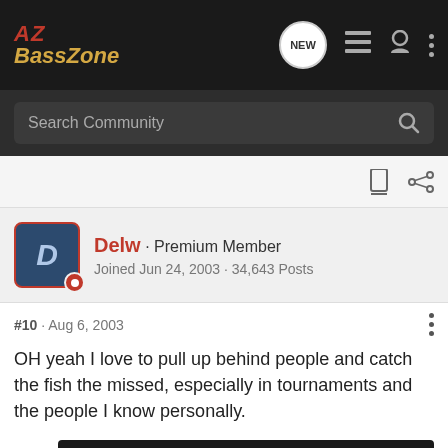AZ BassZone
Search Community
Delw · Premium Member
Joined Jun 24, 2003 · 34,643 Posts
#10 · Aug 6, 2003
OH yeah I love to pull up behind people and catch the fish the missed, especially in tournaments and the people I know personally.
Delw
[Figure (screenshot): Glock advertisement banner: OPTIC READY SLIMLINE, MOS, FIND A DEALER button, Glock Perfection logo]